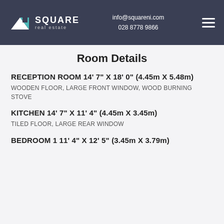info@squareni.com 028 8778 9866
Room Details
RECEPTION ROOM 14' 7" X 18' 0" (4.45m X 5.48m)
WOODEN FLOOR, LARGE FRONT WINDOW, WOOD BURNING STOVE
KITCHEN 14' 7" X 11' 4" (4.45m X 3.45m)
TILED FLOOR, LARGE REAR WINDOW
BEDROOM 1 11' 4" X 12' 5" (3.45m X 3.79m)